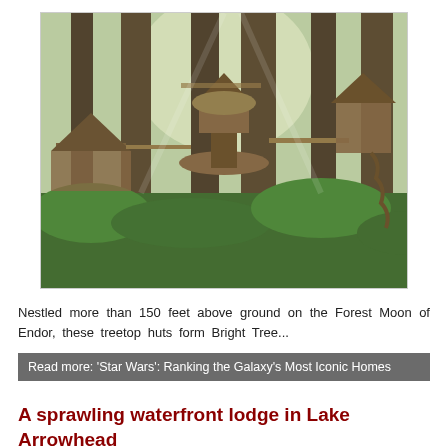[Figure (photo): Fantasy forest scene with treehouse huts elevated on tall tree trunks, connected by walkways and staircases, lush green foliage below, misty atmosphere]
Nestled more than 150 feet above ground on the Forest Moon of Endor, these treetop huts form Bright Tree...
Read more: 'Star Wars': Ranking the Galaxy's Most Iconic Homes
A sprawling waterfront lodge in Lake Arrowhead
Created: Saturday, 05 December 2015 03:30 |
^Back To Top